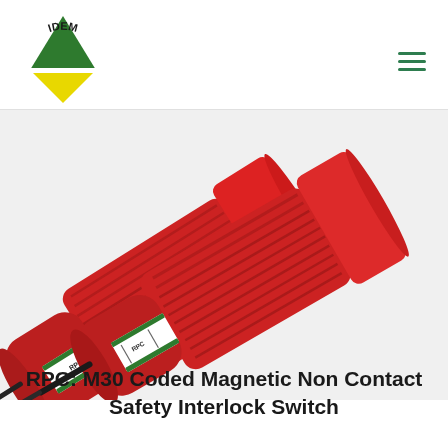[Figure (logo): IDEM logo — green and yellow triangle/arrow shape with 'IDEM' text in a circular arc above it]
[Figure (photo): Red cylindrical M30 coded magnetic non-contact safety interlock switch with green band label reading 'RPC', shown at an angle with cable attached, and a second unit shown from the top in the background]
RPC: M30 Coded Magnetic Non Contact Safety Interlock Switch